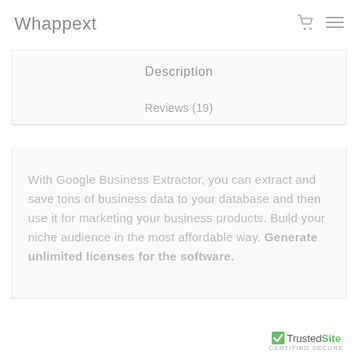Whappext
Description
Reviews (19)
With Google Business Extractor, you can extract and save tons of business data to your database and then use it for marketing your business products. Build your niche audience in the most affordable way. Generate unlimited licenses for the software.
TrustedSite CERTIFIED SECURE